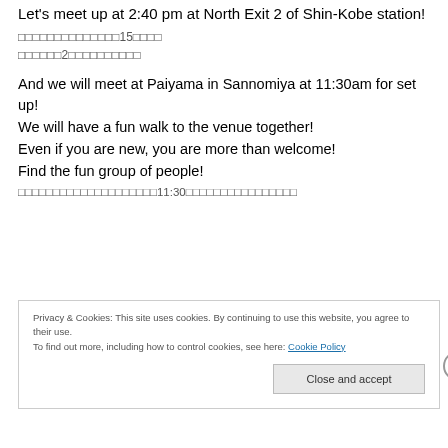Let's meet up at 2:40 pm at North Exit 2 of Shin-Kobe station!
□□□□□□□□□□□□□□15□□□□
□□□□□□2□□□□□□□□□□
And we will meet at Paiyama in Sannomiya at 11:30am for set up!
We will have a fun walk to the venue together!
Even if you are new, you are more than welcome!
Find the fun group of people!
□□□□□□□□□□□□□□□□□□□□11:30□□□□□□□□□□□□□□□□□
Privacy & Cookies: This site uses cookies. By continuing to use this website, you agree to their use. To find out more, including how to control cookies, see here: Cookie Policy
Close and accept